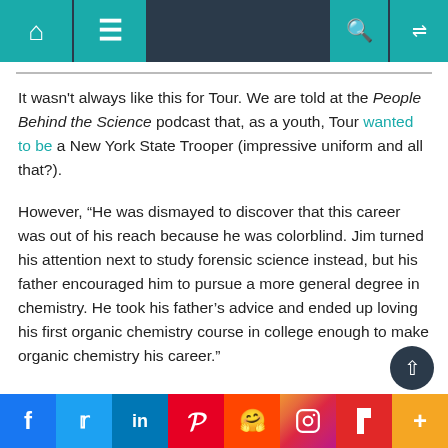Navigation bar with home, menu, search, and shuffle icons
It wasn't always like this for Tour. We are told at the People Behind the Science podcast that, as a youth, Tour wanted to be a New York State Trooper (impressive uniform and all that?).
However, “He was dismayed to discover that this career was out of his reach because he was colorblind. Jim turned his attention next to study forensic science instead, but his father encouraged him to pursue a more general degree in chemistry. He took his father’s advice and ended up loving his first organic chemistry course in college enough to make organic chemistry his career.”
Social sharing bar: Facebook, Twitter, LinkedIn, Pinterest, Reddit, Instagram, Flipboard, Plus